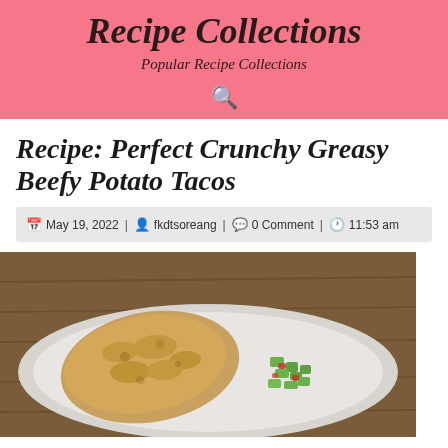Recipe Collections
Popular Recipe Collections
Recipe: Perfect Crunchy Greasy Beefy Potato Tacos
May 19, 2022 | fkdtsoreang | 0 Comment | 11:53 am
[Figure (photo): A white plate with a golden-brown fried taco and a side of diced green and red vegetables (likely cucumber and tomato salad) on a wooden surface.]